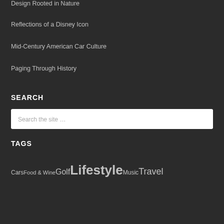Design Rooted in Nature
Reflections of a Disney Icon
Mid-Century American Car Culture
Paging Through History
SEARCH
Search the site …
TAGS
Cars Food & Wine Golf Lifestyle Music Travel